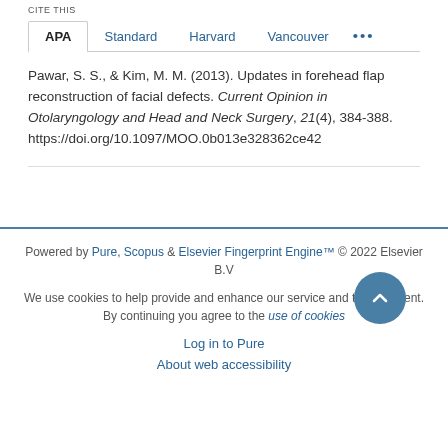CITE THIS
APA  Standard  Harvard  Vancouver  •••
Pawar, S. S., & Kim, M. M. (2013). Updates in forehead flap reconstruction of facial defects. Current Opinion in Otolaryngology and Head and Neck Surgery, 21(4), 384-388. https://doi.org/10.1097/MOO.0b013e328362ce42
Powered by Pure, Scopus & Elsevier Fingerprint Engine™ © 2022 Elsevier B.V

We use cookies to help provide and enhance our service and tailor content. By continuing you agree to the use of cookies

Log in to Pure

About web accessibility